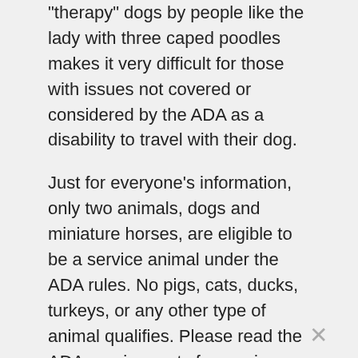“therapy” dogs by people like the lady with three caped poodles makes it very difficult for those with issues not covered or considered by the ADA as a disability to travel with their dog.

Just for everyone’s information, only two animals, dogs and miniature horses, are eligible to be a service animal under the ADA rules. No pigs, cats, ducks, turkeys, or any other type of animal qualifies. Please read the ADA requirements for service animals at https://www.ada.gov/service_animals_2010.htm